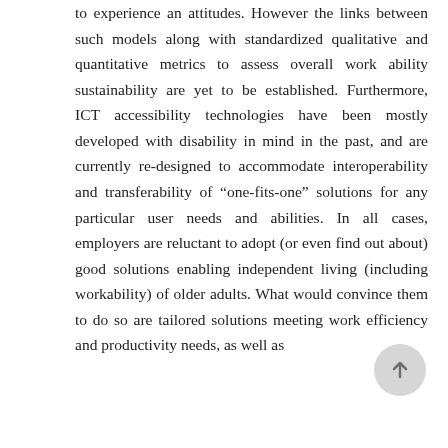to experience an attitudes. However the links between such models along with standardized qualitative and quantitative metrics to assess overall work ability sustainability are yet to be established. Furthermore, ICT accessibility technologies have been mostly developed with disability in mind in the past, and are currently re-designed to accommodate interoperability and transferability of "one-fits-one" solutions for any particular user needs and abilities. In all cases, employers are reluctant to adopt (or even find out about) good solutions enabling independent living (including workability) of older adults. What would convince them to do so are tailored solutions meeting work efficiency and productivity needs, as well as